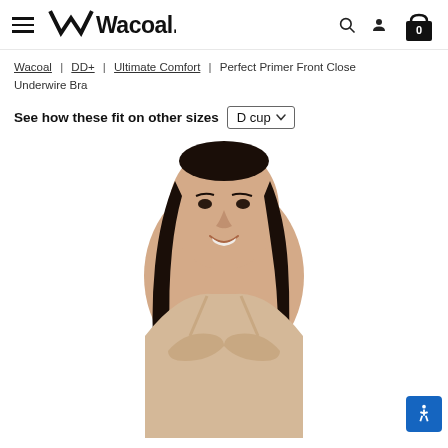Wacoal — hamburger menu, logo, search, user, cart (0)
Wacoal | DD+ | Ultimate Comfort | Perfect Primer Front Close Underwire Bra
See how these fit on other sizes D cup
[Figure (photo): A smiling woman with long dark hair wearing a nude/beige bra, photographed from the chest up against a white background.]